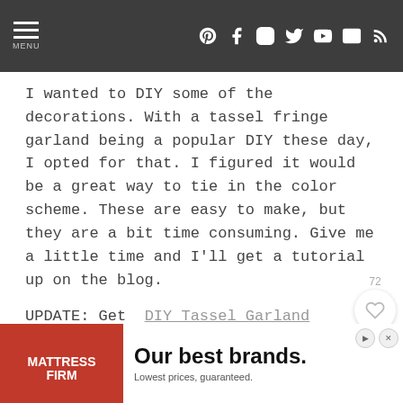MENU [social icons: Pinterest, Facebook, Instagram, Twitter, YouTube, Email, RSS]
I wanted to DIY some of the decorations. With a tassel fringe garland being a popular DIY these day, I opted for that. I figured it would be a great way to tie in the color scheme. These are easy to make, but they are a bit time consuming. Give me a little time and I'll get a tutorial up on the blog.
UPDATE: Get DIY Tassel Garland Tutorial HERE .
[Figure (screenshot): Advertisement banner for Mattress Firm: 'Our best brands. Lowest prices, guaranteed.']